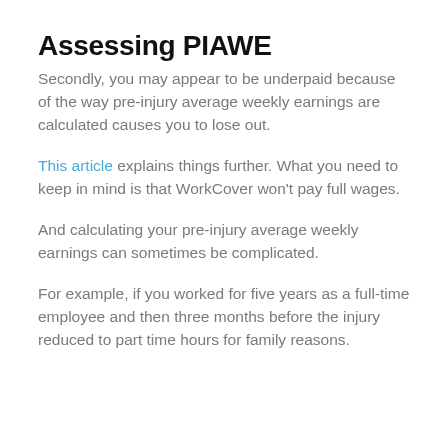Assessing PIAWE
Secondly, you may appear to be underpaid because of the way pre-injury average weekly earnings are calculated causes you to lose out.
This article explains things further. What you need to keep in mind is that WorkCover won't pay full wages.
And calculating your pre-injury average weekly earnings can sometimes be complicated.
For example, if you worked for five years as a full-time employee and then three months before the injury reduced to part time hours for family reasons.